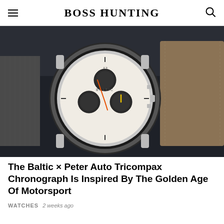BOSS HUNTING
[Figure (photo): A close-up photo of a watch — the Baltic × Peter Auto Tricompax Chronograph — resting on a dark leather surface with a textured grey strap visible. The watch has a white dial with multiple sub-dials and an orange chronograph hand.]
The Baltic × Peter Auto Tricompax Chronograph Is Inspired By The Golden Age Of Motorsport
WATCHES  2 weeks ago